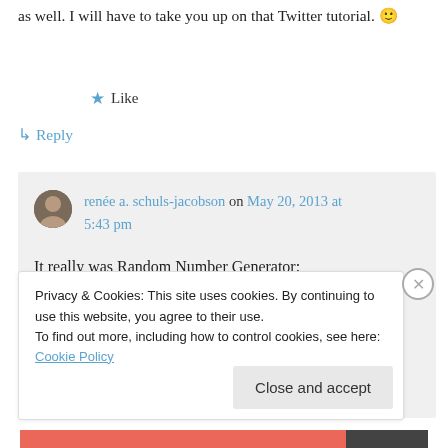as well. I will have to take you up on that Twitter tutorial. 🙂
★ Like
↳ Reply
renée a. schuls-jacobson on May 20, 2013 at 5:43 pm
It really was Random Number Generator; otherwise, Aimee Broussard would have
Privacy & Cookies: This site uses cookies. By continuing to use this website, you agree to their use. To find out more, including how to control cookies, see here: Cookie Policy
Close and accept